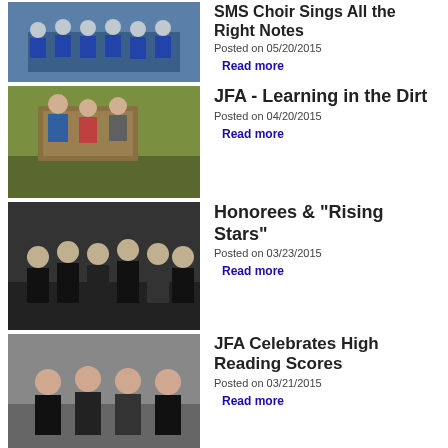[Figure (photo): Group of students in blue uniforms (choir)]
SMS Choir Sings All the Right Notes
Posted on 05/20/2015
Read more
[Figure (photo): Students learning outdoors in dirt/garden area]
JFA - Learning in the Dirt
Posted on 04/20/2015
Read more
[Figure (photo): Students and adults at an awards ceremony]
Honorees & "Rising Stars"
Posted on 03/23/2015
Read more
[Figure (photo): Students celebrating high reading scores]
JFA Celebrates High Reading Scores
Posted on 03/21/2015
Read more
[Figure (photo): Salem High School students at computers]
Salem High School students begin to see benefits of $30-million endowment
Posted on 02/04/2015
Read more
[Figure (photo): MLK 2015 placeholder image]
Scholarship & Awards Breakfast
Posted on 01/20/2015
Read more
[Figure (photo): Outdoor photo of Salem's John Fenwick]
Students from Salem's John Fenwick